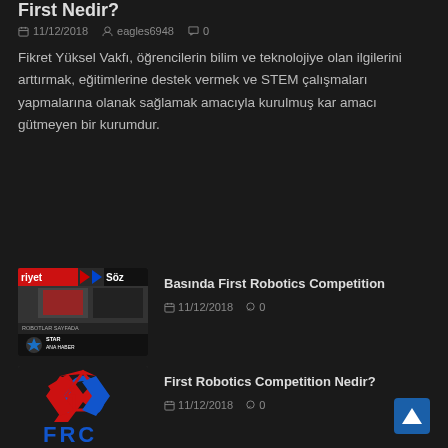First Nedir?
11/12/2018  eagles6948  0
Fikret Yüksel Vakfı, öğrencilerin bilim ve teknolojiye olan ilgilerini arttırmak, eğitimlerine destek vermek ve STEM çalışmaları yapmalarına olanak sağlamak amacıyla kurulmuş kar amacı gütmeyen bir kurumdur.
[Figure (photo): Newspaper front pages including Hürriyet and Söz newspapers showing robotics competition coverage, with STAR Ana Haber at bottom]
Basında First Robotics Competition
11/12/2018  0
[Figure (logo): FRC (First Robotics Competition) logo with red and blue angular arrows/chevron design above blue FRC text]
First Robotics Competition Nedir?
11/12/2018  0